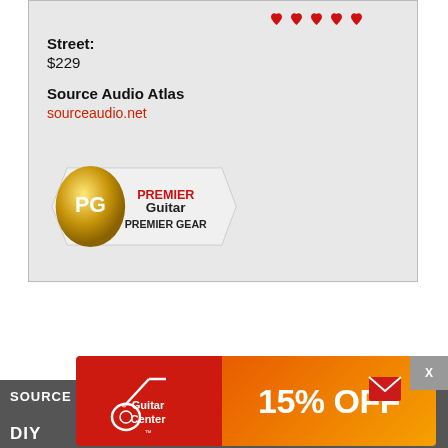Street: $229
Source Audio Atlas
sourceaudio.net
[Figure (logo): Premier Guitar Premier Gear badge/award logo — gold guitar pick shape with PG initials, text reads PREMIER Guitar PREMIER GEAR]
Read More
[Figure (logo): Guitar Center 15% OFF advertisement banner — red section with Guitar Center logo on left, orange gradient section with '15% OFF' text on right]
SOURCE AUDIO
DIY